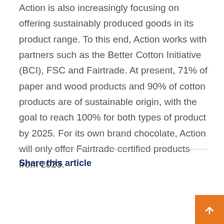Action is also increasingly focusing on offering sustainably produced goods in its product range. To this end, Action works with partners such as the Better Cotton Initiative (BCI), FSC and Fairtrade. At present, 71% of paper and wood products and 90% of cotton products are of sustainable origin, with the goal to reach 100% for both types of product by 2025. For its own brand chocolate, Action will only offer Fairtrade-certified products from 2023.
Share this article
[Figure (other): Social share buttons: LinkedIn, Twitter, Facebook, Mail]